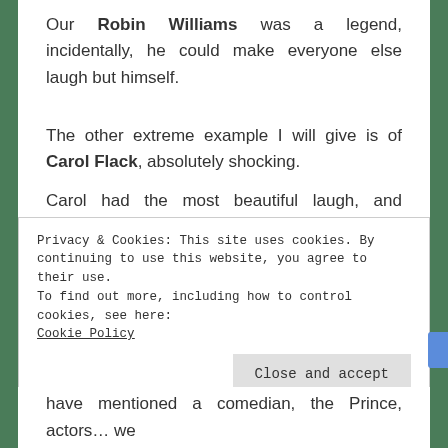Our Robin Williams was a legend, incidentally, he could make everyone else laugh but himself.
The other extreme example I will give is of Carol Flack, absolutely shocking.
Carol had the most beautiful laugh, and beautiful clothes, she was a stunner, hosted amazing shows but had skeletons in the cupboard, hidden right in
Privacy & Cookies: This site uses cookies. By continuing to use this website, you agree to their use.
To find out more, including how to control cookies, see here:
Cookie Policy
Close and accept
have mentioned a comedian, the Prince, actors… we